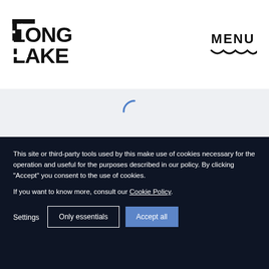[Figure (logo): Long Lake logo — bold black stacked text logo with LONG on top and LAKE on bottom]
[Figure (other): MENU label with wavy underline decoration]
[Figure (other): Loading spinner arc — partial blue circle arc indicating loading state]
This site or third-party tools used by this make use of cookies necessary for the operation and useful for the purposes described in our policy. By clicking "Accept" you consent to the use of cookies.
If you want to know more, consult our Cookie Policy.
Settings
Only essentials
Accept all